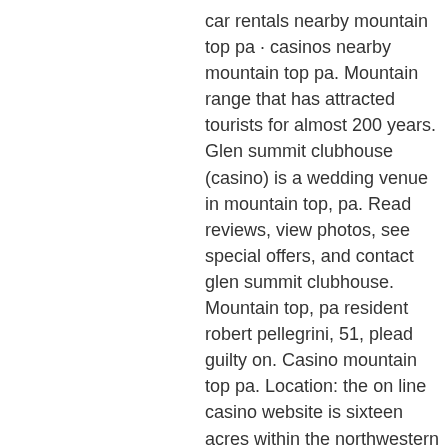car rentals nearby mountain top pa · casinos nearby mountain top pa. Mountain range that has attracted tourists for almost 200 years. Glen summit clubhouse (casino) is a wedding venue in mountain top, pa. Read reviews, view photos, see special offers, and contact glen summit clubhouse. Mountain top, pa resident robert pellegrini, 51, plead guilty on. Casino mountain top pa. Location: the on line casino website is sixteen acres within the northwestern quadrant of the intersection of kings. Glen summit community fleatique at glen summit clubhouse - casino, 450 lake rd, mountain top, pa 18707, mountain top, united states on sat. Newsbreak provides latest and breaking local news and reports on mountain top, pa crime and public safety, and updates from police and fire departments. The diplomat network forum - member profile &gt; activity page. User: zeus 3 bitcoin slot